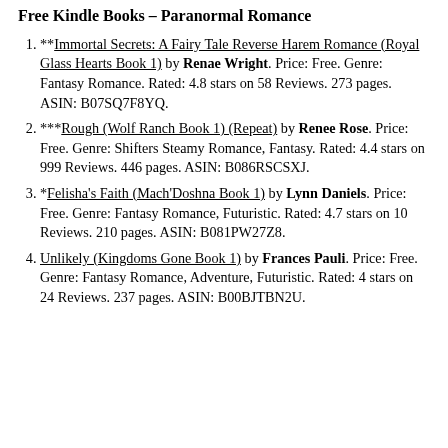Free Kindle Books – Paranormal Romance
**Immortal Secrets: A Fairy Tale Reverse Harem Romance (Royal Glass Hearts Book 1) by Renae Wright. Price: Free. Genre: Fantasy Romance. Rated: 4.8 stars on 58 Reviews. 273 pages. ASIN: B07SQ7F8YQ.
***Rough (Wolf Ranch Book 1) (Repeat) by Renee Rose. Price: Free. Genre: Shifters Steamy Romance, Fantasy. Rated: 4.4 stars on 999 Reviews. 446 pages. ASIN: B086RSCSXJ.
*Felisha's Faith (Mach'Doshna Book 1) by Lynn Daniels. Price: Free. Genre: Fantasy Romance, Futuristic. Rated: 4.7 stars on 10 Reviews. 210 pages. ASIN: B081PW27Z8.
Unlikely (Kingdoms Gone Book 1) by Frances Pauli. Price: Free. Genre: Fantasy Romance, Adventure, Futuristic. Rated: 4 stars on 24 Reviews. 237 pages. ASIN: B00BJTBN2U.